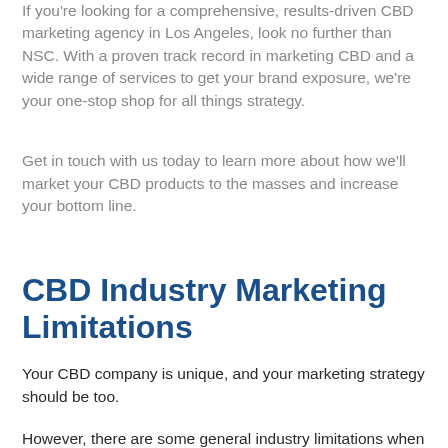If you're looking for a comprehensive, results-driven CBD marketing agency in Los Angeles, look no further than NSC. With a proven track record in marketing CBD and a wide range of services to get your brand exposure, we're your one-stop shop for all things strategy.
Get in touch with us today to learn more about how we'll market your CBD products to the masses and increase your bottom line.
CBD Industry Marketing Limitations
Your CBD company is unique, and your marketing strategy should be too.
However, there are some general industry limitations when